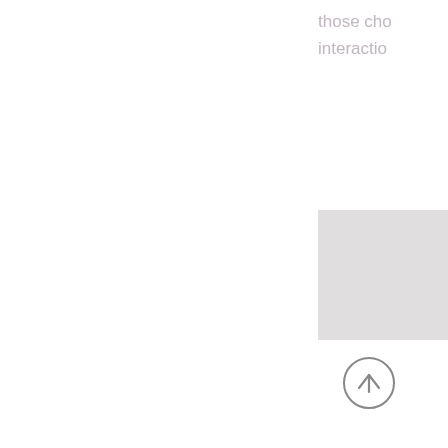those cho… interactio…
[Figure (other): A light gray rectangular box positioned in the upper right area of the page]
[Figure (other): A circular upward-arrow navigation button (scroll to top) in gray outline style, positioned in the lower right area]